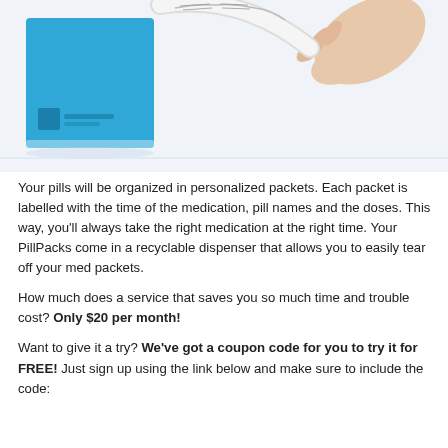[Figure (photo): Photo of a blue PillPack box on the left and a hand holding a strip of labeled pill packets on the right, against a white background.]
Your pills will be organized in personalized packets. Each packet is labelled with the time of the medication, pill names and the doses. This way, you'll always take the right medication at the right time. Your PillPacks come in a recyclable dispenser that allows you to easily tear off your med packets.
How much does a service that saves you so much time and trouble cost? Only $20 per month!
Want to give it a try? We've got a coupon code for you to try it for FREE! Just sign up using the link below and make sure to include the code: